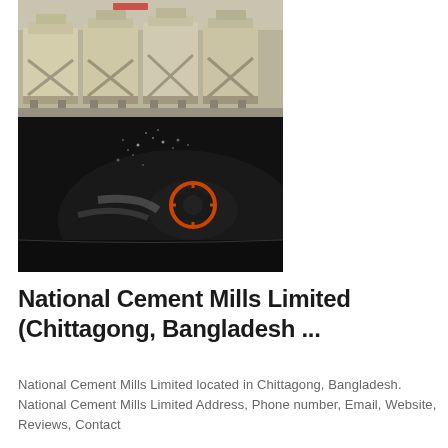[Figure (photo): Two stacked photos: top shows beige/cream colored industrial machinery (cone crushers or similar processing equipment) on a gray floor outdoors; bottom shows a dark scene with machinery and an orange circular element with water/material spray.]
National Cement Mills Limited (Chittagong, Bangladesh ...
National Cement Mills Limited located in Chittagong, Bangladesh. National Cement Mills Limited Address, Phone number, Email, Website, Reviews, Contact